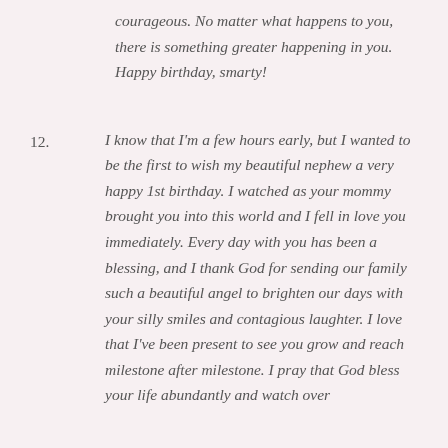courageous. No matter what happens to you, there is something greater happening in you. Happy birthday, smarty!
12. I know that I'm a few hours early, but I wanted to be the first to wish my beautiful nephew a very happy 1st birthday. I watched as your mommy brought you into this world and I fell in love you immediately. Every day with you has been a blessing, and I thank God for sending our family such a beautiful angel to brighten our days with your silly smiles and contagious laughter. I love that I've been present to see you grow and reach milestone after milestone. I pray that God bless your life abundantly and watch over